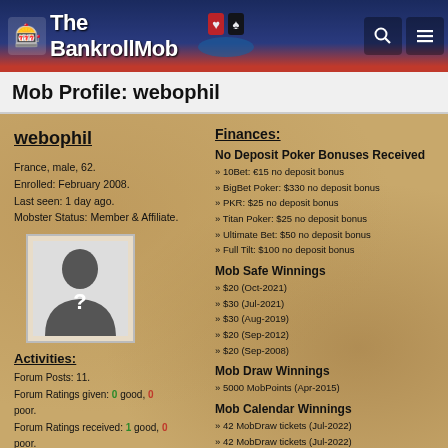The BankrollMob
Mob Profile: webophil
webophil
France, male, 62. Enrolled: February 2008. Last seen: 1 day ago. Mobster Status: Member & Affiliate.
[Figure (photo): Anonymous silhouette avatar with question mark]
Activities:
Forum Posts: 11. Forum Ratings given: 0 good, 0 poor. Forum Ratings received: 1 good, 0 poor.
Finances:
No Deposit Poker Bonuses Received
10Bet: €15 no deposit bonus
BigBet Poker: $330 no deposit bonus
PKR: $25 no deposit bonus
Titan Poker: $25 no deposit bonus
Ultimate Bet: $50 no deposit bonus
Full Tilt: $100 no deposit bonus
Mob Safe Winnings
$20 (Oct-2021)
$30 (Jul-2021)
$30 (Aug-2019)
$20 (Sep-2012)
$20 (Sep-2008)
Mob Draw Winnings
5000 MobPoints (Apr-2015)
Mob Calendar Winnings
42 MobDraw tickets (Jul-2022)
42 MobDraw tickets (Jul-2022)
500 MobPoints (Jul-2022)